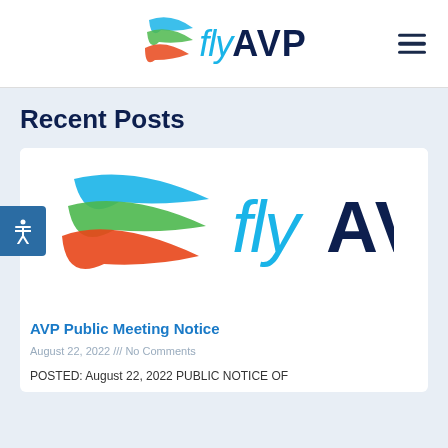flyAVP
Recent Posts
[Figure (logo): flyAVP airport logo with colorful swoosh stripes (blue, green, orange/red) and flyAVP text in blue]
AVP Public Meeting Notice
August 22, 2022 /// No Comments
POSTED: August 22, 2022 PUBLIC NOTICE OF